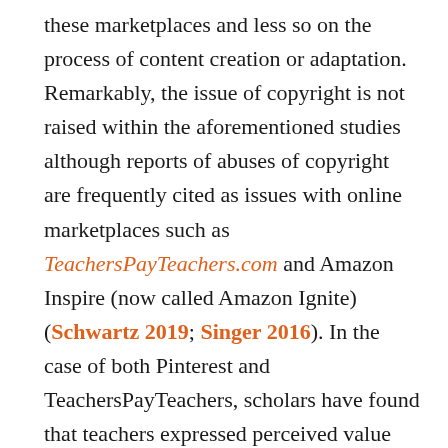these marketplaces and less so on the process of content creation or adaptation. Remarkably, the issue of copyright is not raised within the aforementioned studies although reports of abuses of copyright are frequently cited as issues with online marketplaces such as TeachersPayTeachers.com and Amazon Inspire (now called Amazon Ignite) (Schwartz 2019; Singer 2016). In the case of both Pinterest and TeachersPayTeachers, scholars have found that teachers expressed perceived value inherent in the social nature of these platforms, for example, noting a sense of trust and credibility when locating a resource created by another, perhaps more experienced, teacher (Torphy & Drake 2019).